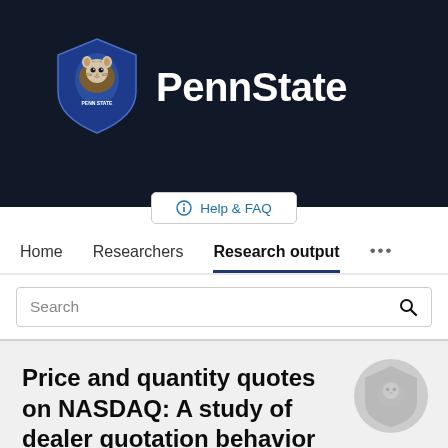[Figure (logo): Penn State university logo with lion shield and PennState wordmark on dark background]
Help & FAQ
Home   Researchers   Research output   ...
Search
Price and quantity quotes on NASDAQ: A study of dealer quotation behavior